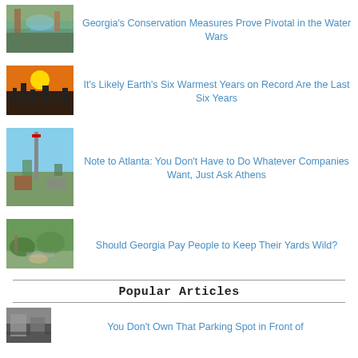[Figure (photo): River/nature scene with autumn trees]
Georgia's Conservation Measures Prove Pivotal in the Water Wars
[Figure (photo): City skyline silhouette at sunset with orange sky]
It's Likely Earth's Six Warmest Years on Record Are the Last Six Years
[Figure (photo): Street scene with pole and blue sky]
Note to Atlanta: You Don't Have to Do Whatever Companies Want, Just Ask Athens
[Figure (photo): Garden/yard with wild plants and stones]
Should Georgia Pay People to Keep Their Yards Wild?
Popular Articles
[Figure (photo): Building/parking area photo]
You Don't Own That Parking Spot in Front of